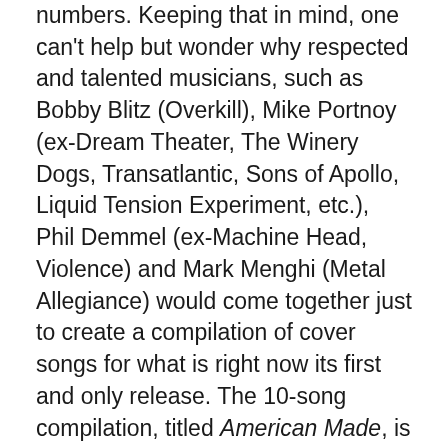numbers.  Keeping that in mind, one can't help but wonder why respected and talented musicians, such as Bobby Blitz (Overkill), Mike Portnoy (ex-Dream Theater, The Winery Dogs, Transatlantic, Sons of Apollo, Liquid Tension Experiment, etc.), Phil Demmel (ex-Machine Head, Violence) and Mark Menghi (Metal Allegiance) would come together just to create a compilation of cover songs for what is right now its first and only release.  The 10-song compilation, titled American Made, is scheduled for release Friday through Napalm Records.  It does delve into music from some notable bands who have come before this hard rock supergroup dubbed BPMD.  That dichotomy of the bands whose music is covered versus the band performing said songs does make for at least some interest at best.  This item will be addressed a little later.  The specific arrangements of said songs is certain to be its own discussion point.  They will be discussed...